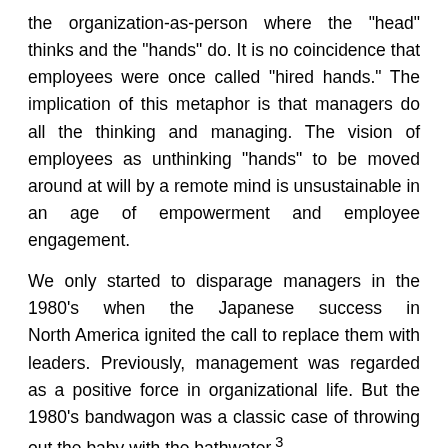the organization-as-person where the "head" thinks and the "hands" do. It is no coincidence that employees were once called "hired hands." The implication of this metaphor is that managers do all the thinking and managing. The vision of employees as unthinking "hands" to be moved around at will by a remote mind is unsustainable in an age of empowerment and employee engagement.
We only started to disparage managers in the 1980's when the Japanese success in North America ignited the call to replace them with leaders. Previously, management was regarded as a positive force in organizational life. But the 1980's bandwagon was a classic case of throwing out the baby with the bathwater.3
Managers used to have a choice of styles: "theory y" (people are responsible and can be trusted) or "theory x" (people aren't responsible and need to be controlled.) But the 1980's call to replace managers with leaders